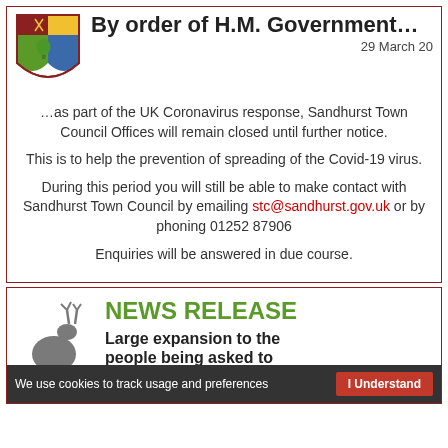By order of H.M. Government…
29 March 20
…as part of the UK Coronavirus response, Sandhurst Town Council Offices will remain closed until further notice.
This is to help the prevention of spreading of the Covid-19 virus.
During this period you will still be able to make contact with Sandhurst Town Council by emailing stc@sandhurst.gov.uk or by phoning 01252 87906
Enquiries will be answered in due course.
NEWS RELEASE
Large expansion to the people being asked to
We use cookies to track usage and preferences    I Understand    Cookie Policy